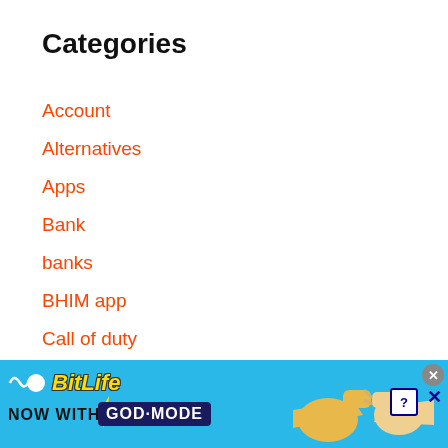Categories
Account
Alternatives
Apps
Bank
banks
BHIM app
Call of duty
Captions
[Figure (photo): BitLife advertisement banner with 'NOW WITH GOD MODE' text, pointing hand illustrations, blue background, close and help buttons.]